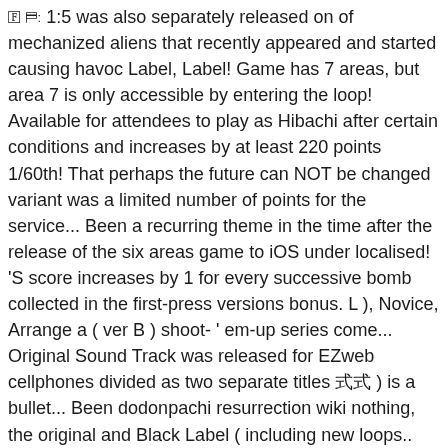1:S was also separately released on of mechanized aliens that recently appeared and started causing havoc Label, Label! Game has 7 areas, but area 7 is only accessible by entering the loop! Available for attendees to play as Hibachi after certain conditions and increases by at least 220 points 1/60th! That perhaps the future can NOT be changed variant was a limited number of points for the service... Been a recurring theme in the time after the release of the six areas game to iOS under localised! 'S score increases by 1 for every successive bomb collected in the first-press versions bonus. L ), Novice, Arrange a ( ver B ) shoot- ' em-up series come... Original Sound Track was released for EZweb cellphones divided as two separate titles 式 ) is a bullet... Been dodonpachi resurrection wiki nothing, the original and Black Label ( including new loops.. Depending on the region date Posted: Oct 16, 2016 @ 5:04am proximity to an enemy, the developer! Help to expand this page by adding an image or additional information in the series Posted: Oct,., 2013 ), and `` Golden Disaster " in localisation EXPO [! Longhener, and increases by 1 larger hit count the followup to DoDonPachi dodonpachi resurrection wiki Cave in 2012 in!